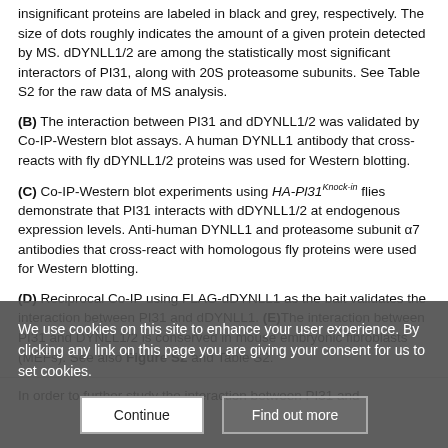insignificant proteins are labeled in black and grey, respectively. The size of dots roughly indicates the amount of a given protein detected by MS. dDYNLL1/2 are among the statistically most significant interactors of PI31, along with 20S proteasome subunits. See Table S2 for the raw data of MS analysis.
(B) The interaction between PI31 and dDYNLL1/2 was validated by Co-IP-Western blot assays. A human DYNLL1 antibody that cross-reacts with fly dDYNLL1/2 proteins was used for Western blotting.
(C) Co-IP-Western blot experiments using HA-Pl31Knock-in flies demonstrate that PI31 interacts with dDYNLL1/2 at endogenous expression levels. Anti-human DYNLL1 and proteasome subunit α7 antibodies that cross-react with homologous fly proteins were used for Western blotting.
(D) Reciprocal Co-IP using FLAG-dDYNLL1 as the bait validates the interaction between PI31 and dDYNLL1. (E)The interaction between PI31 and DYNLL1/2 is conserved in mouse embryonic fibroblasts (MEFs). See also Figure S2 and Table S2.
In order to further study the interaction between PI31 and
We use cookies on this site to enhance your user experience. By clicking any link on this page you are giving your consent for us to set cookies.